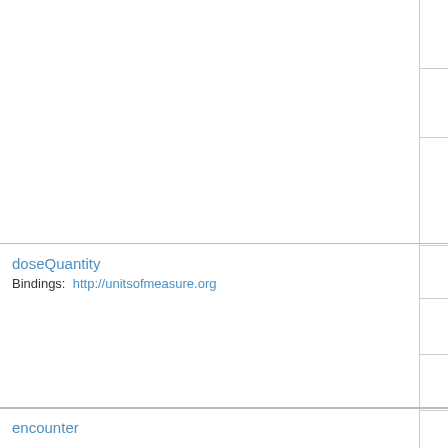doseQuantity
Bindings: http://unitsofmeasure.org
encounter